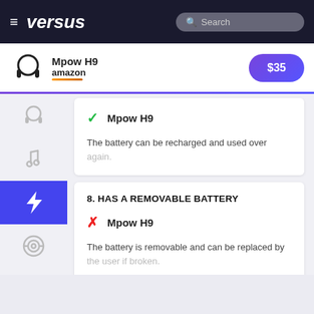versus — Search
Mpow H9 — amazon — $35
✓ Mpow H9 — The battery can be recharged and used over again.
8. HAS A REMOVABLE BATTERY
✗ Mpow H9 — The battery is removable and can be replaced by the user if broken.